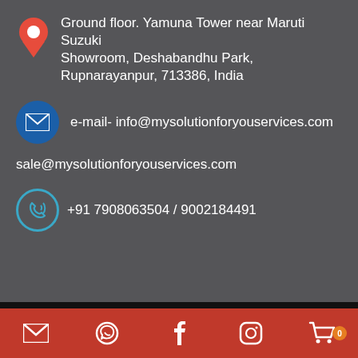Ground floor. Yamuna Tower near Maruti Suzuki Showroom, Deshabandhu Park, Rupnarayanpur, 713386, India
e-mail- info@mysolutionforyouservices.com
sale@mysolutionforyouservices.com
+91 7908063504 / 9002184491
[Figure (infographic): Bottom navigation bar with email, WhatsApp, Facebook, Instagram, and shopping cart icons on a red background. Shopping cart has an orange badge showing 0.]